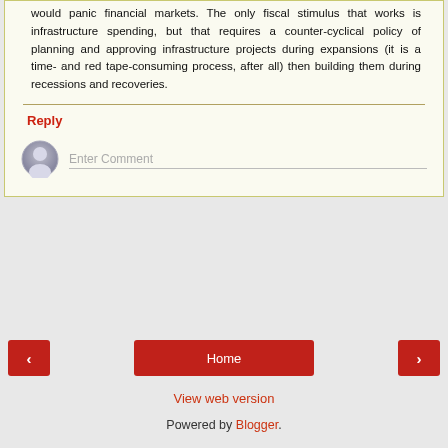would panic financial markets. The only fiscal stimulus that works is infrastructure spending, but that requires a counter-cyclical policy of planning and approving infrastructure projects during expansions (it is a time- and red tape-consuming process, after all) then building them during recessions and recoveries.
Reply
[Figure (illustration): User avatar icon — grey circle with silhouette person]
Enter Comment
Home
View web version
Powered by Blogger.